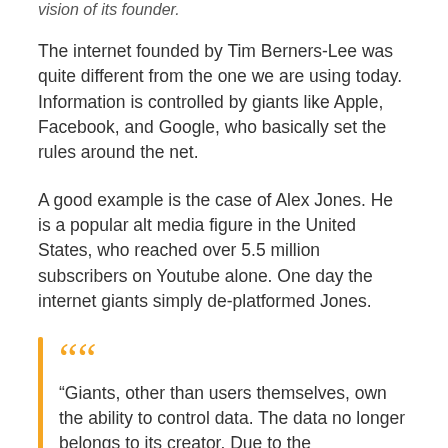vision of its founder.
The internet founded by Tim Berners-Lee was quite different from the one we are using today. Information is controlled by giants like Apple, Facebook, and Google, who basically set the rules around the net.
A good example is the case of Alex Jones. He is a popular alt media figure in the United States, who reached over 5.5 million subscribers on Youtube alone. One day the internet giants simply de-platformed Jones.
“Giants, other than users themselves, own the ability to control data. The data no longer belongs to its creator. Due to the inappropriateness of an attempt to retake